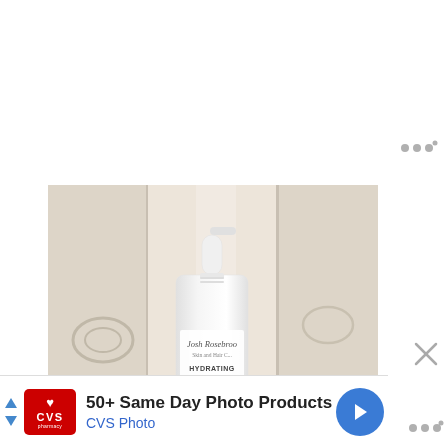[Figure (photo): White spray bottle labeled 'Josh Rosebrook Skin and Hair Care - Hydrating Accelerator' placed in front of a light wood plank background]
[Figure (other): Advertisement banner: CVS Pharmacy logo with text '50+ Same Day Photo Products' and 'CVS Photo' in blue, with navigation arrow icon]
[Figure (other): Close button (X) and overflow menu dots on the right side]